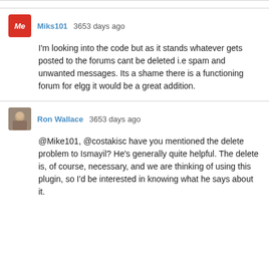Miks101 3653 days ago
I'm looking into the code but as it stands whatever gets posted to the forums cant be deleted i.e spam and unwanted messages. Its a shame there is a functioning forum for elgg it would be a great addition.
Ron Wallace 3653 days ago
@Mike101, @costakisc have you mentioned the delete problem to Ismayil? He's generally quite helpful. The delete is, of course, necessary, and we are thinking of using this plugin, so I'd be interested in knowing what he says about it.